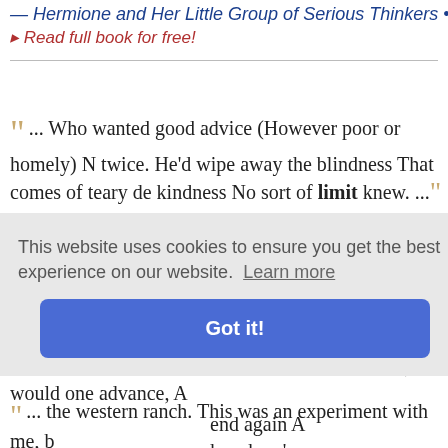— Hermione and Her Little Group of Serious Thinkers • Don
▸ Read full book for free!
"... Who wanted good advice (However poor or homely) N twice. He'd wipe away the blindness That comes of teary de kindness No sort of limit knew. ..."
— More Bab Ballads • W. S. Gilbert
▸ Read full book for free!
"... a wide-extended plain Of fallow land, rich, fertile, mello plough'd; where many ploughmen up and down Their teams as each attain'd The limit of the field, would one advance, A end again A ker show'c ught in gol"
This website uses cookies to ensure you get the best experience on our website. Learn more
Got it!
"... the western ranch. This was an experiment with me, b"